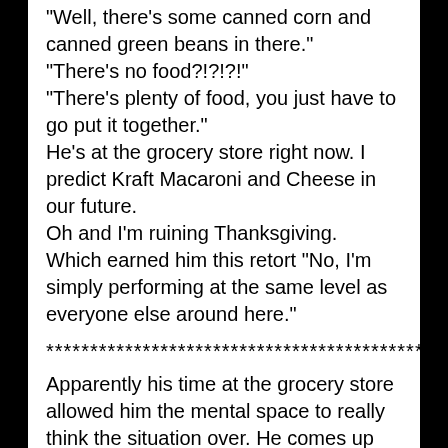"Well, there's some canned corn and canned green beans in there."
"There's no food?!?!?!"
"There's plenty of food, you just have to go put it together."
He's at the grocery store right now. I predict Kraft Macaroni and Cheese in our future.
Oh and I'm ruining Thanksgiving.
Which earned him this retort "No, I'm simply performing at the same level as everyone else around here."
********************************************
Apparently his time at the grocery store allowed him the mental space to really think the situation over. He comes up stairs and is all "Now I understand, you thought I meant we would be eating in the next little while. Oh no, I meant that we would be eating around six or seven....we have plenty of time to get ready." (paraphrasing, but this is essentially what he said)